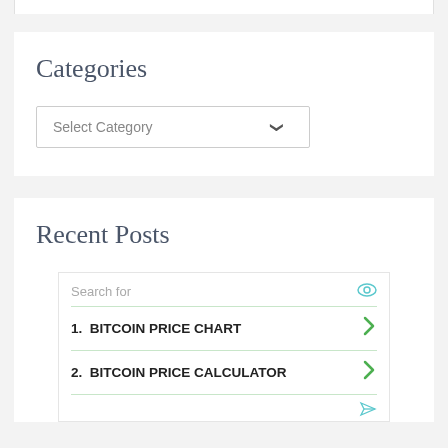Categories
Select Category
Recent Posts
Search for
1. BITCOIN PRICE CHART
2. BITCOIN PRICE CALCULATOR